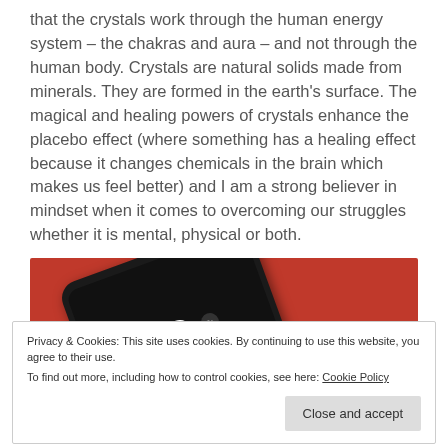that the crystals work through the human energy system – the chakras and aura – and not through the human body. Crystals are natural solids made from minerals. They are formed in the earth's surface. The magical and healing powers of crystals enhance the placebo effect (where something has a healing effect because it changes chemicals in the brain which makes us feel better) and I am a strong believer in mindset when it comes to overcoming our struggles whether it is mental, physical or both.
[Figure (photo): A smartphone with a red case showing a podcast/audio player interface with pause button and playback controls, placed on a red background.]
Privacy & Cookies: This site uses cookies. By continuing to use this website, you agree to their use. To find out more, including how to control cookies, see here: Cookie Policy